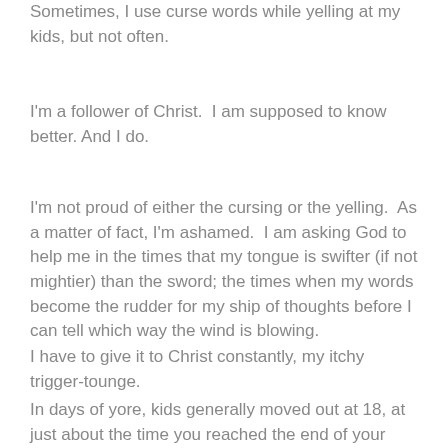Sometimes, I use curse words while yelling at my kids, but not often.
I'm a follower of Christ.  I am supposed to know better.  And I do.
I'm not proud of either the cursing or the yelling.  As a matter of fact, I'm ashamed.  I am asking God to help me in the times that my tongue is swifter (if not mightier) than the sword; the times when my words become the rudder for my ship of thoughts before I can tell which way the wind is blowing.
I have to give it to Christ constantly, my itchy trigger-tounge.
In days of yore, kids generally moved out at 18, at just about the time you reached the end of your proverbial